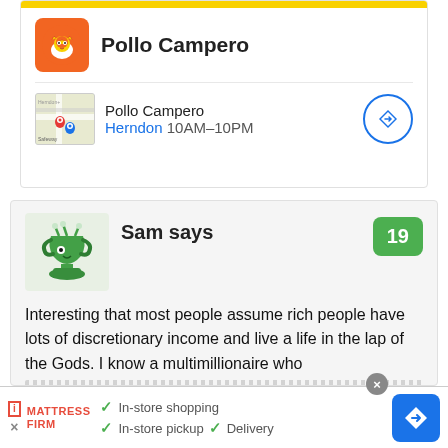[Figure (screenshot): Google search result card for Pollo Campero with brand logo, yellow bar, restaurant name, and location map thumbnail showing Herndon location with hours 10AM-10PM and navigation button]
[Figure (screenshot): Comment card on light gray background showing user 'Sam says' with green avatar mascot, vote badge showing 19, and comment text: 'Interesting that most people assume rich people have lots of discretionary income and live a life in the lap of the Gods. I know a multimillionaire who...']
[Figure (screenshot): Advertisement banner for Mattress Firm showing In-store shopping, In-store pickup, and Delivery checkmarks with blue navigation arrow button]